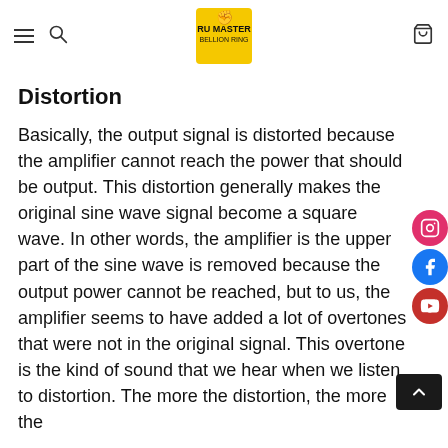Navigation bar with hamburger menu, search icon, logo, and cart icon
Distortion
Basically, the output signal is distorted because the amplifier cannot reach the power that should be output. This distortion generally makes the original sine wave signal become a square wave. In other words, the amplifier is the upper part of the sine wave is removed because the output power cannot be reached, but to us, the amplifier seems to have added a lot of overtones that were not in the original signal. This overtone is the kind of sound that we hear when we listen to distortion. The more the distortion, the more the